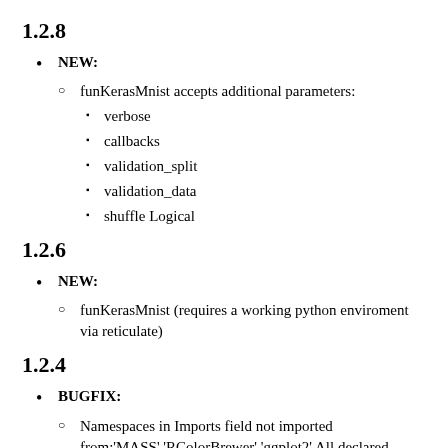1.2.8
NEW:
funKerasMnist accepts additional parameters:
verbose
callbacks
validation_split
validation_data
shuffle Logical
1.2.6
NEW:
funKerasMnist (requires a working python enviroment via reticulate)
1.2.4
BUGFIX:
Namespaces in Imports field not imported from:'MASS' 'RColorBrewer' 'ggplot2' All declared Imports should be used.